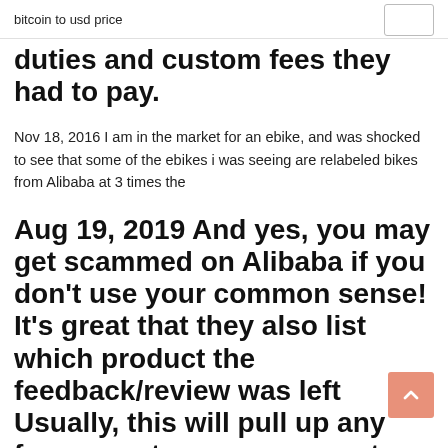bitcoin to usd price
duties and custom fees they had to pay.
Nov 18, 2016 I am in the market for an ebike, and was shocked to see that some of the ebikes i was seeing are relabeled bikes from Alibaba at 3 times the
Aug 19, 2019 And yes, you may get scammed on Alibaba if you don't use your common sense! It's great that they also list which product the feedback/review was left Usually, this will pull up any forum posts or scam reports associated